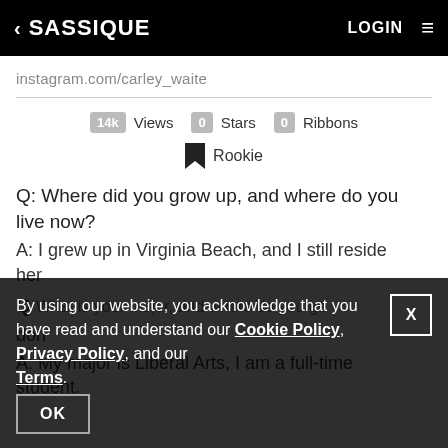< SASSIQUE   LOGIN ☰
instagram.com/carley_waite
14k Views  0 Stars  0 Ribbons
Rookie
Q: Where did you grow up, and where do you live now?
A: I grew up in Virginia Beach, and I still reside here.
Q: What is your major, and where do you go?
A: My major is Liberal Arts, I am a full-time student.
By using our website, you acknowledge that you have read and understand our Cookie Policy, Privacy Policy, and our Terms.